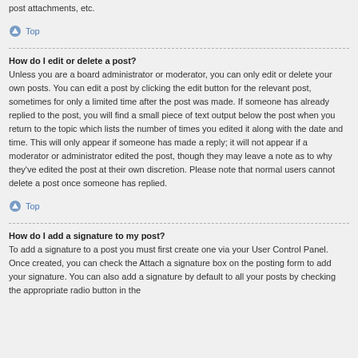post attachments, etc.
Top
How do I edit or delete a post?
Unless you are a board administrator or moderator, you can only edit or delete your own posts. You can edit a post by clicking the edit button for the relevant post, sometimes for only a limited time after the post was made. If someone has already replied to the post, you will find a small piece of text output below the post when you return to the topic which lists the number of times you edited it along with the date and time. This will only appear if someone has made a reply; it will not appear if a moderator or administrator edited the post, though they may leave a note as to why they've edited the post at their own discretion. Please note that normal users cannot delete a post once someone has replied.
Top
How do I add a signature to my post?
To add a signature to a post you must first create one via your User Control Panel. Once created, you can check the Attach a signature box on the posting form to add your signature. You can also add a signature by default to all your posts by checking the appropriate radio button in the